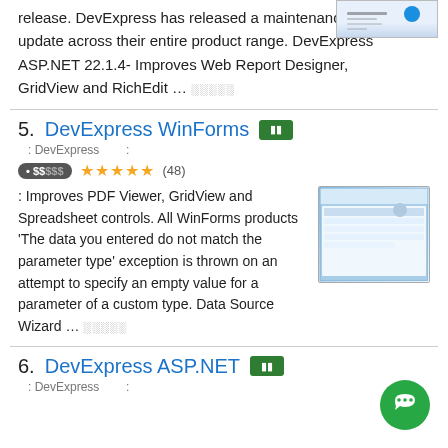release. DevExpress has released a maintenance update across their entire product range. DevExpress ASP.NET 22.1.4- Improves Web Report Designer, GridView and RichEdit ... ░░░░░
[Figure (screenshot): Screenshot thumbnail of DevExpress product interface]
5. DevExpress WinForms
: DevExpress    :
• $$$$$ ★★★★★ (48)
: Improves PDF Viewer, GridView and Spreadsheet controls. All WinForms products 'The data you entered do not match the parameter type' exception is thrown on an attempt to specify an empty value for a parameter of a custom type. Data Source Wizard ... ░░░░░
[Figure (screenshot): Screenshot of DevExpress WinForms product interface on Windows 11]
6. DevExpress ASP.NET
: DevExpress    :